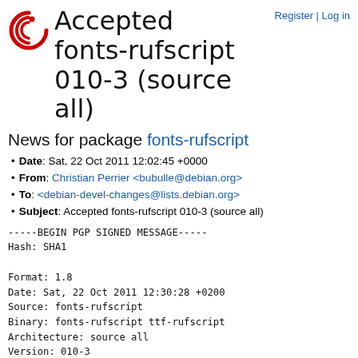Accepted fonts-rufscript 010-3 (source all)
Register | Log in
News for package fonts-rufscript
Date: Sat, 22 Oct 2011 12:02:45 +0000
From: Christian Perrier <bubulle@debian.org>
To: <debian-devel-changes@lists.debian.org>
Subject: Accepted fonts-rufscript 010-3 (source all)
-----BEGIN PGP SIGNED MESSAGE-----
Hash: SHA1

Format: 1.8
Date: Sat, 22 Oct 2011 12:30:28 +0200
Source: fonts-rufscript
Binary: fonts-rufscript ttf-rufscript
Architecture: source all
Version: 010-3
Distribution: unstable